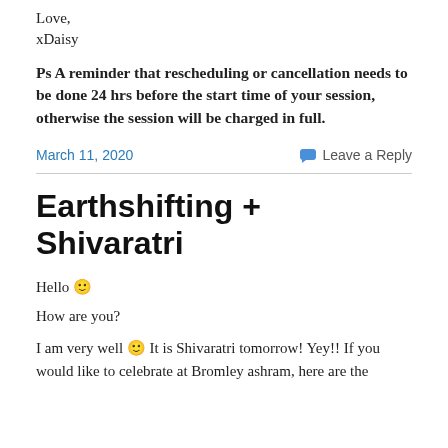Love,
xDaisy
Ps A reminder that rescheduling or cancellation needs to be done 24 hrs before the start time of your session, otherwise the session will be charged in full.
March 11, 2020
Leave a Reply
Earthshifting + Shivaratri
Hello 🙂
How are you?
I am very well 🙂 It is Shivaratri tomorrow! Yey!! If you would like to celebrate at Bromley ashram, here are the